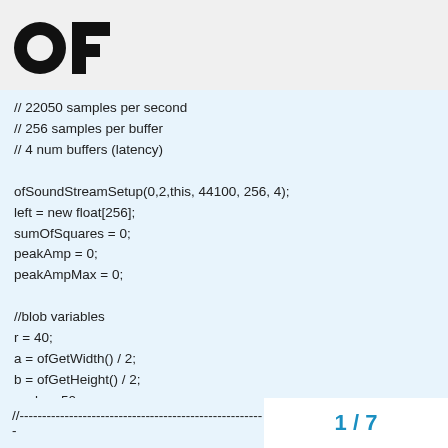OF logo
// 22050 samples per second
// 256 samples per buffer
// 4 num buffers (latency)

ofSoundStreamSetup(0,2,this, 44100, 256, 4);
left = new float[256];
sumOfSquares = 0;
peakAmp = 0;
peakAmpMax = 0;

//blob variables
r = 40;
a = ofGetWidth() / 2;
b = ofGetHeight() / 2;
scale = 50;
numBlobs = 0;
freeze = false;
}
//--------------------------------------------------------  1 / 7